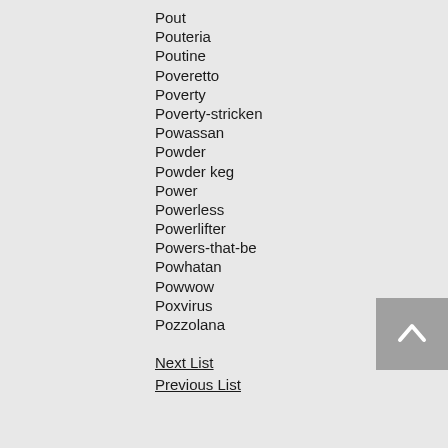Pout
Pouteria
Poutine
Poveretto
Poverty
Poverty-stricken
Powassan
Powder
Powder keg
Power
Powerless
Powerlifter
Powers-that-be
Powhatan
Powwow
Poxvirus
Pozzolana
Next List
Previous List